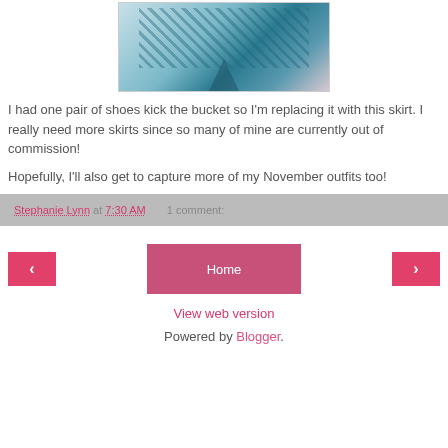[Figure (photo): Close-up photo of fabric with teal/blue castle and tree pattern on pink/white background]
I had one pair of shoes kick the bucket so I'm replacing it with this skirt. I really need more skirts since so many of mine are currently out of commission!
Hopefully, I'll also get to capture more of my November outfits too!
Stephanie Lynn at 7:30 AM   1 comment:
‹   Home   ›
View web version
Powered by Blogger.